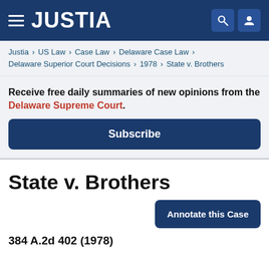JUSTIA
Justia › US Law › Case Law › Delaware Case Law › Delaware Superior Court Decisions › 1978 › State v. Brothers
Receive free daily summaries of new opinions from the Delaware Supreme Court.
Subscribe
State v. Brothers
Annotate this Case
384 A.2d 402 (1978)